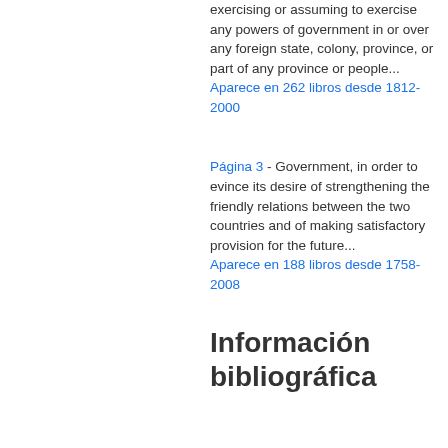exercising or assuming to exercise any powers of government in or over any foreign state, colony, province, or part of any province or people...
Aparece en 262 libros desde 1812-2000
Página 3 - Government, in order to evince its desire of strengthening the friendly relations between the two countries and of making satisfactory provision for the future...
Aparece en 188 libros desde 1758-2008
Información bibliográfica